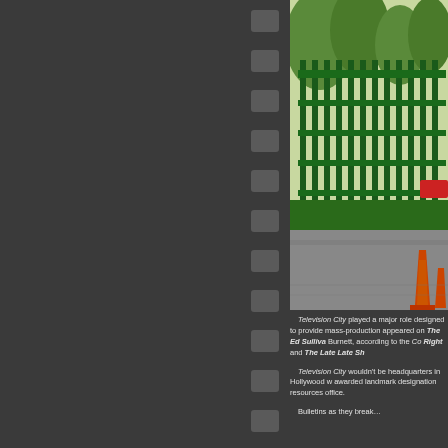[Figure (photo): Outdoor photo showing green metal fence/gate with trees in background, parking area with orange traffic cone visible]
Television City played a major role designed to provide mass-pr... appeared on The Ed Sullivan... Burnett, according to the Co... Right and The Late Late Sh...
Television City wouldn't be... headquarters in Hollywood w... awarded landmark designati... resources office.
Bulletins as they break...